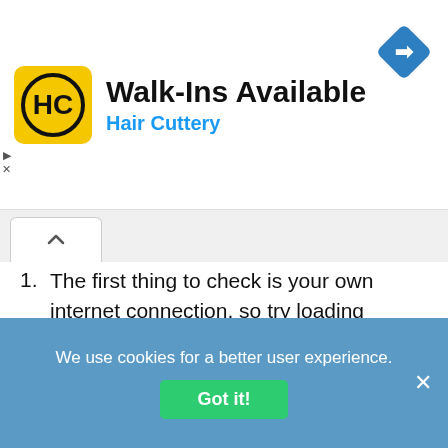[Figure (screenshot): Hair Cuttery advertisement banner with yellow HC logo, 'Walk-Ins Available' title, 'Hair Cuttery' subtitle in blue, and a blue diamond direction arrow icon]
The first thing to check is your own internet connection, so try loading another website. If it loads, your connection is not the problem.
Next, you should ensure that you are definitely using the right credentials with the right login page, especially if you have a different password for Payslipview.com and OurTesco.com.
Double check that you have entered your credentials
We use cookies for a better user experience.